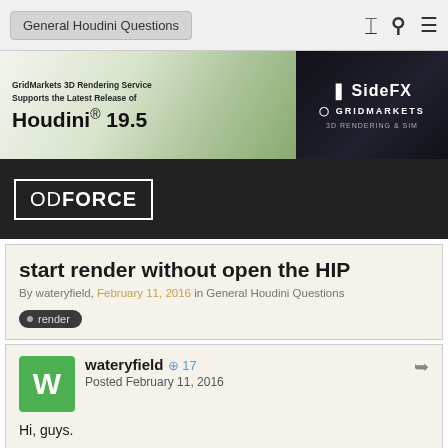General Houdini Questions
[Figure (illustration): GridMarkets 3D Rendering Service advertisement banner. Left side shows text 'GridMarkets 3D Rendering Service Supports the Latest Release of Houdini 19.5' with a green/nature background image. Right side shows SideFX and GridMarkets logos on dark background.]
[Figure (logo): ODFORCE logo in white text with border on dark/black background band]
start render without open the HIP
By wateryfield, February 11, 2016 in General Houdini Questions
render
wateryfield  17
Posted February 11, 2016
Hi, guys.